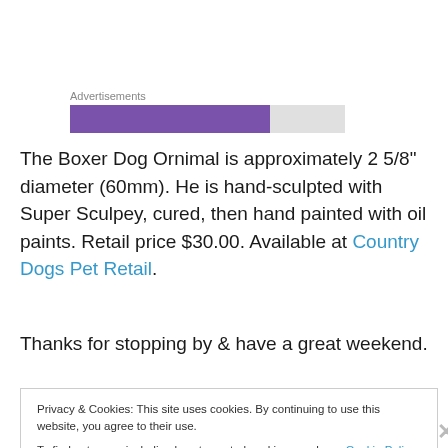[Figure (other): Advertisements label above a horizontal bar: purple segment (~75%) followed by light gray segment (~25%)]
The Boxer Dog Ornimal is approximately 2 5/8" diameter (60mm). He is hand-sculpted with Super Sculpey, cured, then hand painted with oil paints. Retail price $30.00. Available at Country Dogs Pet Retail.
Thanks for stopping by & have a great weekend.
Privacy & Cookies: This site uses cookies. By continuing to use this website, you agree to their use.
To find out more, including how to control cookies, see here: Cookie Policy
Close and accept